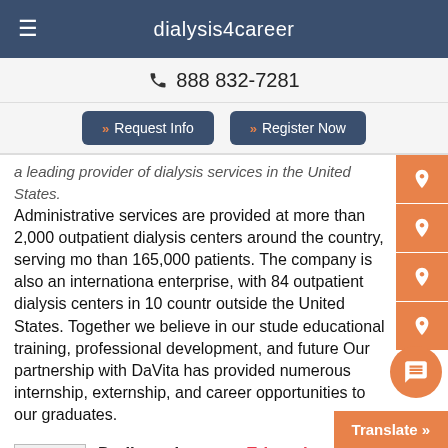dialysis4career
888 832-7281
Request Info   Register Now
a leading provider of dialysis services in the United States. Administrative services are provided at more than 2,000 outpatient dialysis centers around the country, serving more than 165,000 patients. The company is also an international enterprise, with 84 outpatient dialysis centers in 10 countries outside the United States. Together we believe in our students educational training, professional development, and future. Our partnership with DaVita has provided numerous internship, externship, and career opportunities to our graduates.
Dedicated to your Education
We are dedicated to making you